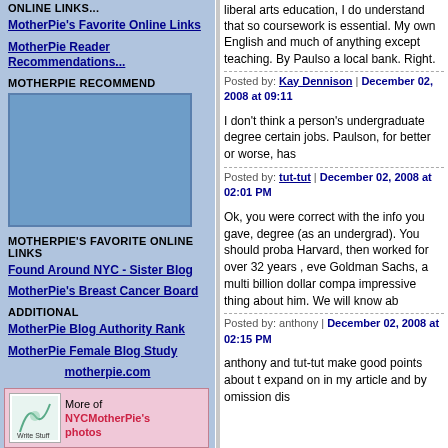ONLINE LINKS...
MotherPie's Favorite Online Links
MotherPie Reader Recommendations...
MOTHERPIE RECOMMEND
[Figure (other): Advertisement/image placeholder box in blue]
MOTHERPIE'S FAVORITE ONLINE LINKS
Found Around NYC - Sister Blog
MotherPie's Breast Cancer Board
ADDITIONAL
MotherPie Blog Authority Rank
MotherPie Female Blog Study
[Figure (other): Widget showing MotherPie write stuff logo with text: More of NYCMotherPie's photos]
liberal arts education, I do understand that so coursework is essential. My own English and much of anything except teaching. By Paulso a local bank. Right.
Posted by: Kay Dennison | December 02, 2008 at 09:11
I don't think a person's undergraduate degree certain jobs. Paulson, for better or worse, has
Posted by: tut-tut | December 02, 2008 at 02:01 PM
Ok, you were correct with the info you gave, degree (as an undergrad). You should proba Harvard, then worked for over 32 years , eve Goldman Sachs, a multi billion dollar compa impressive thing about him. We will know ab
Posted by: anthony | December 02, 2008 at 02:15 PM
anthony and tut-tut make good points about t expand on in my article and by omission dis